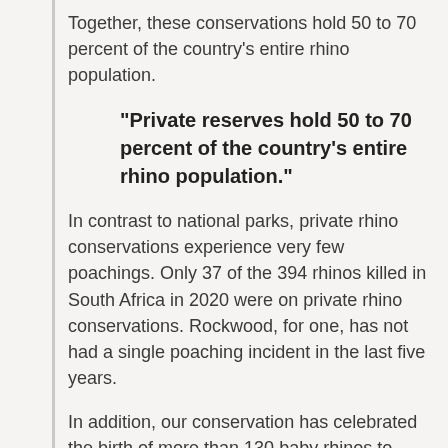Together, these conservations hold 50 to 70 percent of the country's entire rhino population.
“Private reserves hold 50 to 70 percent of the country’s entire rhino population.”
In contrast to national parks, private rhino conservations experience very few poachings. Only 37 of the 394 rhinos killed in South Africa in 2020 were on private rhino conservations. Rockwood, for one, has not had a single poaching incident in the last five years.
In addition, our conservation has celebrated the birth of more than 130 baby rhinos to date, with 10 newborns joining our family as recently